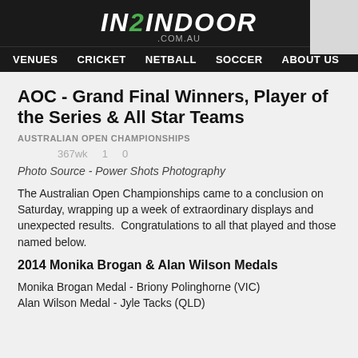[Figure (logo): IN2INDOOR .COM.AU logo in white and green on black background]
VENUES  CRICKET  NETBALL  SOCCER  ABOUT US
AOC - Grand Final Winners, Player of the Series & All Star Teams
AUSTRALIAN OPEN CHAMPIONSHIPS
367wk   1   0
Photo Source - Power Shots Photography
The Australian Open Championships came to a conclusion on Saturday, wrapping up a week of extraordinary displays and unexpected results.  Congratulations to all that played and those named below.
2014 Monika Brogan & Alan Wilson Medals
Monika Brogan Medal - Briony Polinghorne (VIC)
Alan Wilson Medal - Jyle Tacks (QLD)